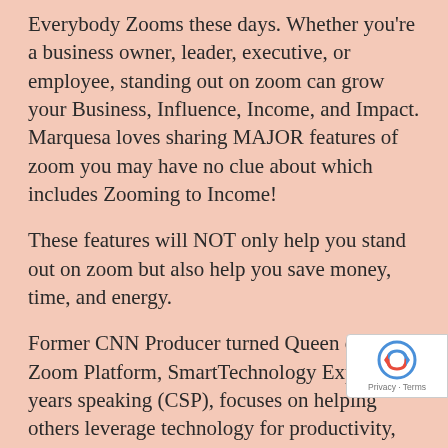Everybody Zooms these days. Whether you're a business owner, leader, executive, or employee, standing out on zoom can grow your Business, Influence, Income, and Impact. Marquesa loves sharing MAJOR features of zoom you may have no clue about which includes Zooming to Income!
These features will NOT only help you stand out on zoom but also help you save money, time, and energy.
Former CNN Producer turned Queen of the Zoom Platform, SmartTechnology Expert,16 years speaking (CSP), focuses on helping others leverage technology for productivity, credibility, and business growth.
If you get something out of learning from the Queen of Zoom, consider joining The Virtual Business Cluband go deep with Zoom Queen every month...
Most of ALL, save money and time as a Zoom VIP
[Figure (logo): reCAPTCHA badge with 'Privacy · Terms' text]